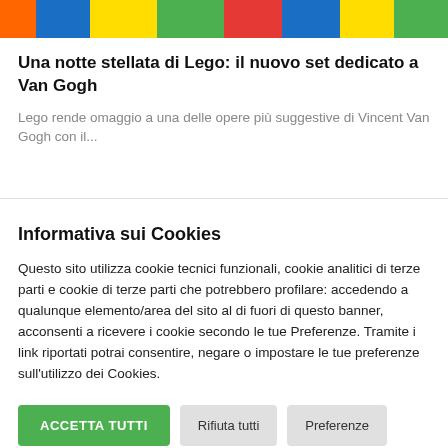[Figure (photo): Colorful Lego bricks banner strip across the top of the page in orange, blue, yellow, green, and red]
Una notte stellata di Lego: il nuovo set dedicato a Van Gogh
Lego rende omaggio a una delle opere più suggestive di Vincent Van Gogh con il...
Informativa sui Cookies
Questo sito utilizza cookie tecnici funzionali, cookie analitici di terze parti e cookie di terze parti che potrebbero profilare: accedendo a qualunque elemento/area del sito al di fuori di questo banner, acconsenti a ricevere i cookie secondo le tue Preferenze. Tramite i link riportati potrai consentire, negare o impostare le tue preferenze sull'utilizzo dei Cookies.
ACCETTA TUTTI
Rifiuta tutti
Preferenze